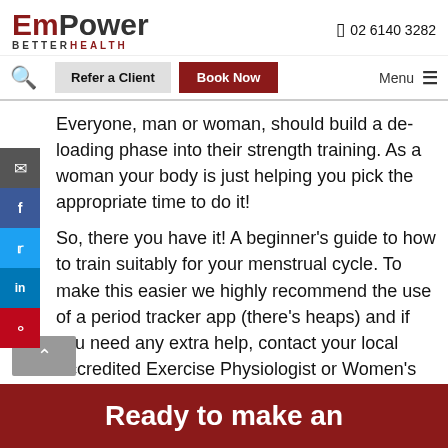EmPower Better Health — 02 6140 3282
Everyone, man or woman, should build a de-loading phase into their strength training. As a woman your body is just helping you pick the appropriate time to do it!
So, there you have it! A beginner's guide to how to train suitably for your menstrual cycle. To make this easier we highly recommend the use of a period tracker app (there's heaps) and if you need any extra help, contact your local Accredited Exercise Physiologist or Women's Health Physiotherapist.
https://www.essa.org.au/Public/News_Room/Media_Releases
Ready to make an